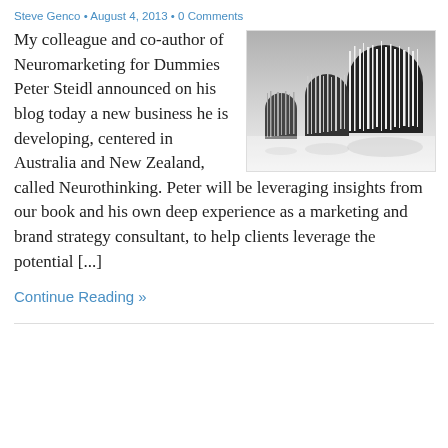Steve Genco • August 4, 2013 • 0 Comments
My colleague and co-author of Neuromarketing for Dummies Peter Steidl announced on his blog today a new business he is developing, centered in Australia and New Zealand, called Neurothinking. Peter will be leveraging insights from our book and his own deep experience as a marketing and brand strategy consultant, to help clients leverage the potential [...]
[Figure (illustration): Black and white illustration of human head silhouettes with barcode-like vertical lines forming the figures and a circular head shape]
Continue Reading »